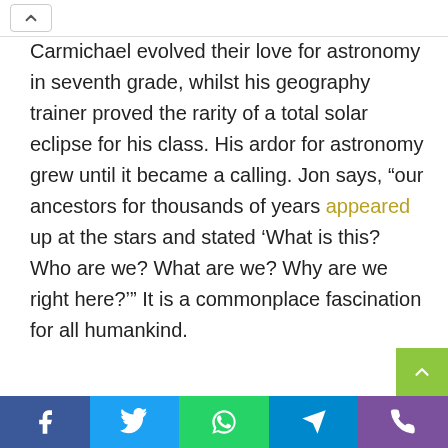^ [nav element]
Carmichael evolved their love for astronomy in seventh grade, whilst his geography trainer proved the rarity of a total solar eclipse for his class. His ardor for astronomy grew until it became a calling. Jon says, “our ancestors for thousands of years appeared up at the stars and stated ‘What is this? Who are we? What are we? Why are we right here?’” It is a commonplace fascination for all humankind.